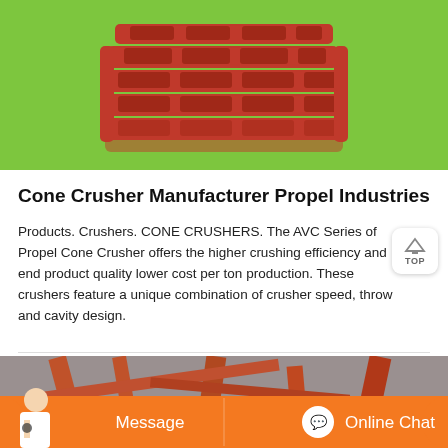[Figure (photo): Red cone crusher component photographed against a bright green background, showing a grid-like structure of red metal parts with rows of rectangular openings.]
Cone Crusher Manufacturer Propel Industries
Products. Crushers. CONE CRUSHERS. The AVC Series of Propel Cone Crusher offers the higher crushing efficiency and end product quality lower cost per ton production. These crushers feature a unique combination of crusher speed, throw and cavity design.
[Figure (photo): Industrial photo of orange/red conveyor structures and machinery at a crushing site with stone/gravel in the background. A chat bar overlay at the bottom shows a customer service representative with Message and Online Chat buttons.]